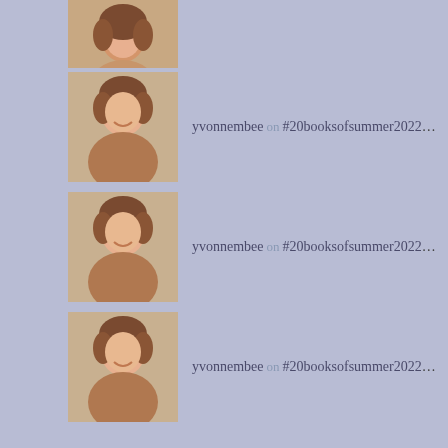[Figure (photo): Partial avatar photo of a woman with curly hair, cropped at top]
yvonnembee on #20booksofsummer2022 – I...
yvonnembee on #20booksofsummer2022 – I...
yvonnembee on #20booksofsummer2022 – I...
Cathy746books on #20booksofsummer2022 – I...
INSTAGRAM
No Instagram images were found.